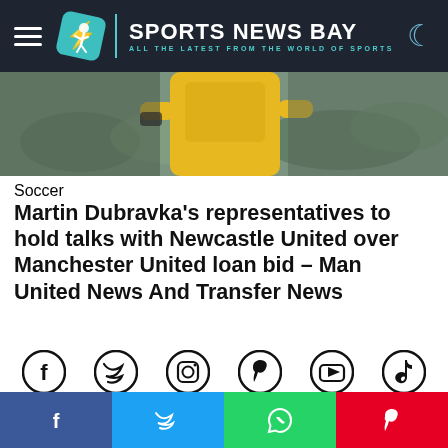Sports News Bay — All The Latest From The World Of Sports
[Figure (photo): Soccer goalkeeper wearing a yellow jersey, blurred crowd background]
Soccer
Martin Dubravka's representatives to hold talks with Newcastle United over Manchester United loan bid – Man United News And Transfer News
[Figure (infographic): Social media icons row: Facebook, Twitter, Instagram, Pinterest, YouTube, TikTok]
[Figure (infographic): Social share bar: Facebook (blue), Twitter (light blue), WhatsApp (green), Pinterest (red)]